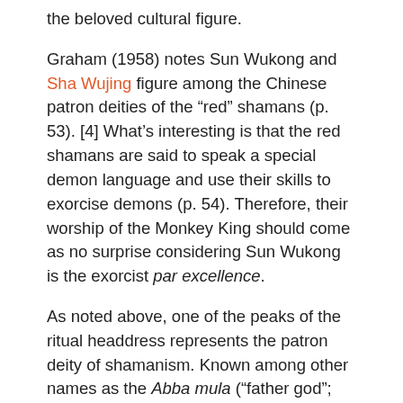the beloved cultural figure.
Graham (1958) notes Sun Wukong and Sha Wujing figure among the Chinese patron deities of the "red" shamans (p. 53). [4] What's interesting is that the red shamans are said to speak a special demon language and use their skills to exorcise demons (p. 54). Therefore, their worship of the Monkey King should come as no surprise considering Sun Wukong is the exorcist par excellence.
As noted above, one of the peaks of the ritual headdress represents the patron deity of shamanism. Known among other names as the Abba mula ("father god"; Ch: Aba muna, 阿爸母纳), this is the title given to the shaman's main focus of worship. For instance, Sun Wukong is the Abba mula of those who revere him.